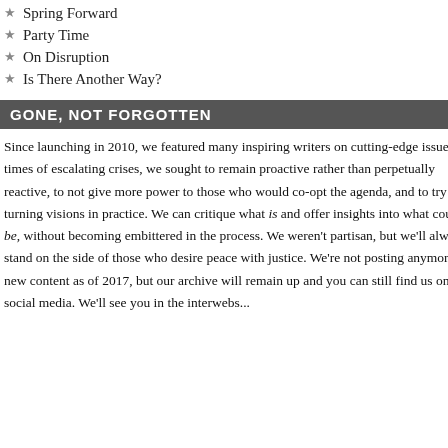Spring Forward
Party Time
On Disruption
Is There Another Way?
GONE, NOT FORGOTTEN
Since launching in 2010, we featured many inspiring writers on cutting-edge issues. In times of escalating crises, we sought to remain proactive rather than perpetually reactive, to not give more power to those who would co-opt the agenda, and to try turning visions in practice. We can critique what is and offer insights into what could be, without becoming embittered in the process. We weren't partisan, but we'll always stand on the side of those who desire peace with justice. We're not posting anymore new content as of 2017, but our archive will remain up and you can still find us on social media. We'll see you in the interwebs...
[Figure (photo): Black and white photo collage of war scenes including soldiers, aircraft, explosions. Large text overlay reads 'WAR IS PEACE']
the powerful at face value is a sign that democrac
Tags: Israel, language, Palestine, peace, security,
Comments (3)
Read, Don't Burn
April 08, 2011  By: NCVeditor  Category: Ahmed A
Out of Darkness Comes Light